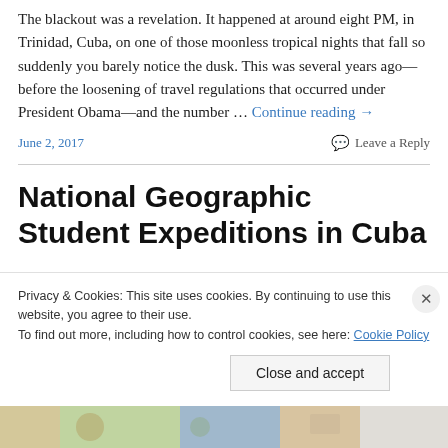The blackout was a revelation. It happened at around eight PM, in Trinidad, Cuba, on one of those moonless tropical nights that fall so suddenly you barely notice the dusk. This was several years ago—before the loosening of travel regulations that occurred under President Obama—and the number … Continue reading →
June 2, 2017
Leave a Reply
National Geographic Student Expeditions in Cuba
Privacy & Cookies: This site uses cookies. By continuing to use this website, you agree to their use. To find out more, including how to control cookies, see here: Cookie Policy
Close and accept